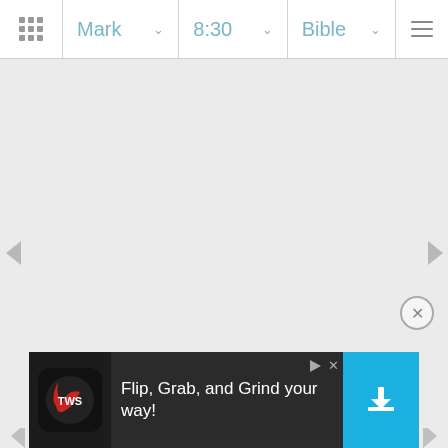Mark  8:30  Bible
[Figure (screenshot): Bible app navigation bar with book selector (Mark), chapter:verse selector (8:30), and Bible version selector, with hamburger menu]
[Figure (screenshot): Empty main content area with left and right navigation arrows on sides]
[Figure (screenshot): Advertisement banner: Flip, Grab, and Grind your way! with app icon and install button]